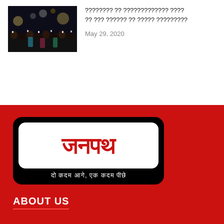[Figure (photo): Crowd of people at a night event holding up phones/cameras with lights]
???????? ?? ????????????? ???? ?? ??? ?????? ?? ????? ????????
May 29, 2020
[Figure (logo): Janpath logo in Hindi - जनपथ - with tagline 'दो कदम आगे, एक कदम पीछे' on black background]
ABOUT US